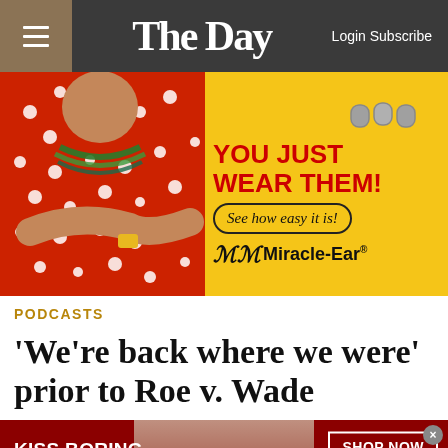The Day — Login Subscribe
[Figure (photo): Miracle-Ear advertisement on yellow background. Elderly woman in red polka dot shirt with colorful necklaces. Text: YOU JUST WEAR THEM! See how easy it is! Miracle-Ear logo.]
PODCASTS
'We're back where we were' prior to Roe v. Wade
[Figure (photo): Macy's advertisement with red background. Woman with red lips. Text: KISS BORING LIPS GOODBYE. SHOP NOW. Macy's logo with star.]